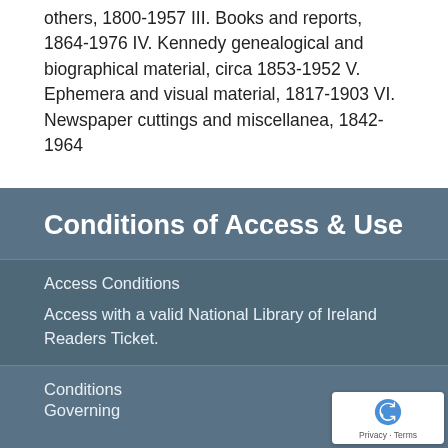others, 1800-1957 III. Books and reports, 1864-1976 IV. Kennedy genealogical and biographical material, circa 1853-1952 V. Ephemera and visual material, 1817-1903 VI. Newspaper cuttings and miscellanea, 1842-1964
Conditions of Access & Use
Access Conditions
Access with a valid National Library of Ireland Readers Ticket.
Conditions
Governing